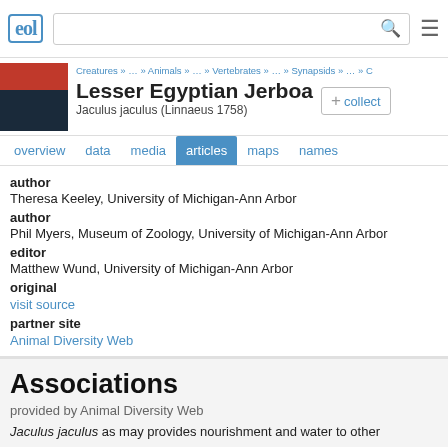eol [logo] [search bar] [menu icon]
Creatures » … » Animals » … » Vertebrates » … » Synapsids » … » C
Lesser Egyptian Jerboa
Jaculus jaculus (Linnaeus 1758)
overview   data   media   articles   maps   names
author
Theresa Keeley, University of Michigan-Ann Arbor
author
Phil Myers, Museum of Zoology, University of Michigan-Ann Arbor
editor
Matthew Wund, University of Michigan-Ann Arbor
original
visit source
partner site
Animal Diversity Web
Associations
provided by Animal Diversity Web
Jaculus jaculus as may provides nourishment and water to other